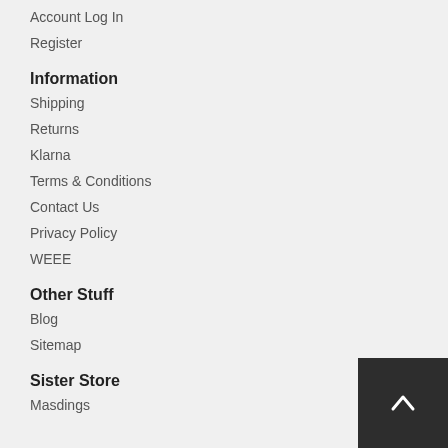Account Log In
Register
Information
Shipping
Returns
Klarna
Terms & Conditions
Contact Us
Privacy Policy
WEEE
Other Stuff
Blog
Sitemap
Sister Store
Masdings